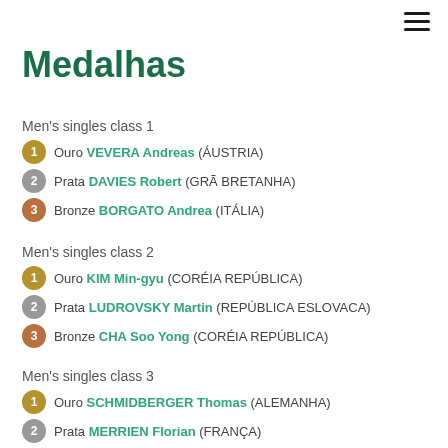Medalhas
Men's singles class 1
1 Ouro VEVERA Andreas (ÁUSTRIA)
2 Prata DAVIES Robert (GRÃ BRETANHA)
3 Bronze BORGATO Andrea (ITÁLIA)
Men's singles class 2
1 Ouro KIM Min-gyu (CORÉIA REPÚBLICA)
2 Prata LUDROVSKY Martin (REPÚBLICA ESLOVACA)
3 Bronze CHA Soo Yong (CORÉIA REPÚBLICA)
Men's singles class 3
1 Ouro SCHMIDBERGER Thomas (ALEMANHA)
2 Prata MERRIEN Florian (FRANÇA)
3 Bronze ROBIN Jean-philippe (FRANCA)